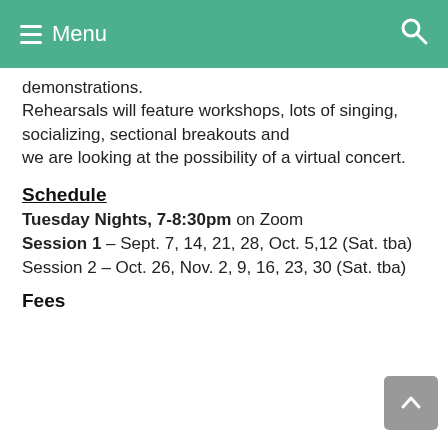Menu
demonstrations.
Rehearsals will feature workshops, lots of singing, socializing, sectional breakouts and
we are looking at the possibility of a virtual concert.
Schedule
Tuesday Nights, 7-8:30pm on Zoom
Session 1 – Sept. 7, 14, 21, 28, Oct. 5,12 (Sat. tba)
Session 2 – Oct. 26, Nov. 2, 9, 16, 23, 30 (Sat. tba)
Fees